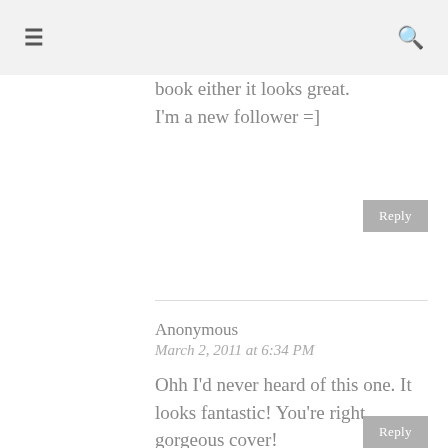≡  🔍
book either it looks great. I'm a new follower =]
Reply
Anonymous
March 2, 2011 at 6:34 PM
Ohh I'd never heard of this one. It looks fantastic! You're right, gorgeous cover!

Check out what I'm waiting for this Wednesday.
Reply